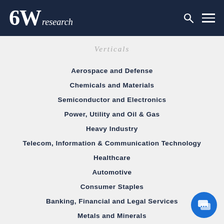6Wresearch
Verticals
Aerospace and Defense
Chemicals and Materials
Semiconductor and Electronics
Power, Utility and Oil & Gas
Heavy Industry
Telecom, Information & Communication Technology
Healthcare
Automotive
Consumer Staples
Banking, Financial and Legal Services
Metals and Minerals
Media and Entertainment
Miscellaneous